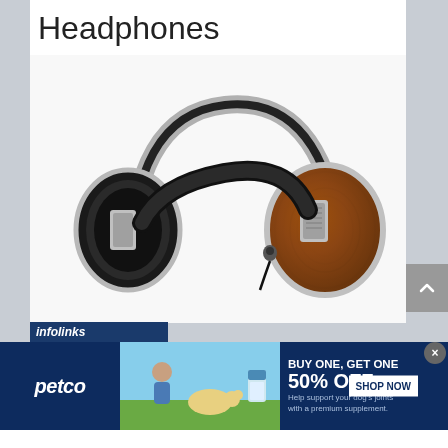Headphones
[Figure (photo): Over-ear headphones with wood grain ear cups and silver metal headband with black leather padding]
[Figure (screenshot): Petco advertisement banner: BUY ONE, GET ONE 50% OFF - Help support your dog's joints with a premium supplement. SHOP NOW button. Shows woman with dog and supplement bottle.]
infolinks